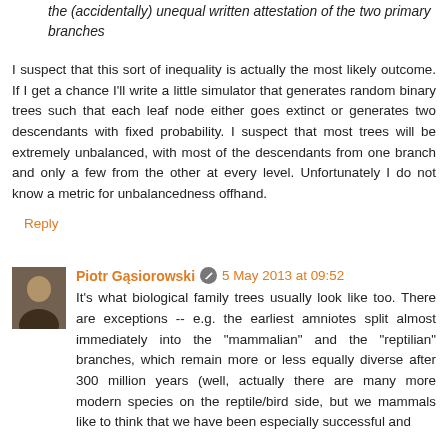the (accidentally) unequal written attestation of the two primary branches
I suspect that this sort of inequality is actually the most likely outcome. If I get a chance I'll write a little simulator that generates random binary trees such that each leaf node either goes extinct or generates two descendants with fixed probability. I suspect that most trees will be extremely unbalanced, with most of the descendants from one branch and only a few from the other at every level. Unfortunately I do not know a metric for unbalancedness offhand.
Reply
Piotr Gąsiorowski  5 May 2013 at 09:52
It's what biological family trees usually look like too. There are exceptions -- e.g. the earliest amniotes split almost immediately into the "mammalian" and the "reptilian" branches, which remain more or less equally diverse after 300 million years (well, actually there are many more modern species on the reptile/bird side, but we mammals like to think that we have been especially successful and